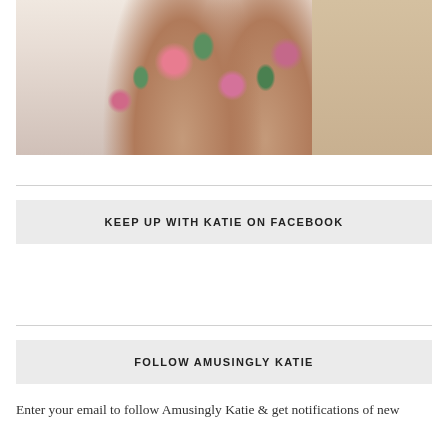[Figure (photo): A person wearing a white floral dress with pink roses and green leaves, cropped to show the body from roughly chest to lower thigh. Background shows white curtains/column on the left and beige tile floor on the right.]
KEEP UP WITH KATIE ON FACEBOOK
FOLLOW AMUSINGLY KATIE
Enter your email to follow Amusingly Katie & get notifications of new